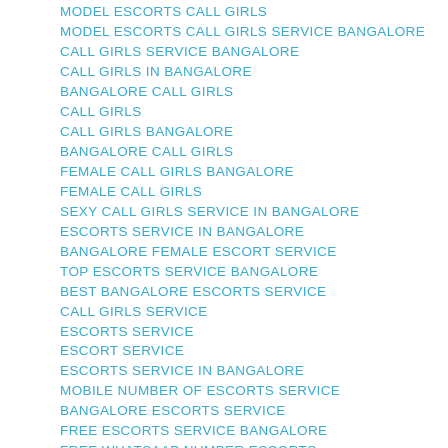MODEL ESCORTS CALL GIRLS
MODEL ESCORTS CALL GIRLS SERVICE BANGALORE
CALL GIRLS SERVICE BANGALORE
CALL GIRLS IN BANGALORE
BANGALORE CALL GIRLS
CALL GIRLS
CALL GIRLS BANGALORE
BANGALORE CALL GIRLS
FEMALE CALL GIRLS BANGALORE
FEMALE CALL GIRLS
SEXY CALL GIRLS SERVICE IN BANGALORE
ESCORTS SERVICE IN BANGALORE
BANGALORE FEMALE ESCORT SERVICE
TOP ESCORTS SERVICE BANGALORE
BEST BANGALORE ESCORTS SERVICE
CALL GIRLS SERVICE
ESCORTS SERVICE
ESCORT SERVICE
ESCORTS SERVICE IN BANGALORE
MOBILE NUMBER OF ESCORTS SERVICE
BANGALORE ESCORTS SERVICE
FREE ESCORTS SERVICE BANGALORE
FREE WHATSAAP NUMBER ESCORTS